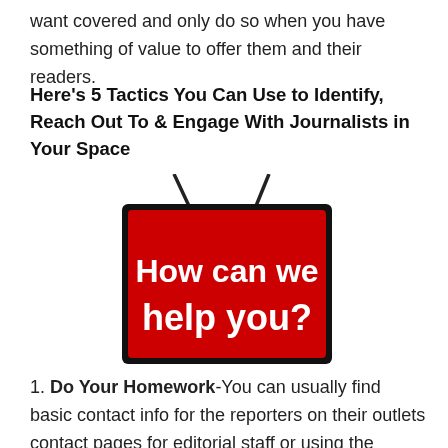want covered and only do so when you have something of value to offer them and their readers.
Here’s 5 Tactics You Can Use to Identify, Reach Out To & Engage With Journalists in Your Space
[Figure (illustration): A red hanging sign with white text reading 'How can we help you?' with a black border and string hangers on a white background.]
1. Do Your Homework-You can usually find basic contact info for the reporters on their outlets contact pages for editorial staff or using the ‘contact me’ button at the top of